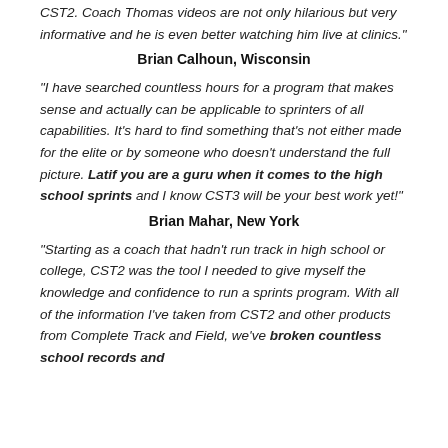CST2. Coach Thomas videos are not only hilarious but very informative and he is even better watching him live at clinics."
Brian Calhoun, Wisconsin
"I have searched countless hours for a program that makes sense and actually can be applicable to sprinters of all capabilities. It’s hard to find something that’s not either made for the elite or by someone who doesn’t understand the full picture. Latif you are a guru when it comes to the high school sprints and I know CST3 will be your best work yet!"
Brian Mahar, New York
"Starting as a coach that hadn’t run track in high school or college, CST2 was the tool I needed to give myself the knowledge and confidence to run a sprints program. With all of the information I’ve taken from CST2 and other products from Complete Track and Field, we’ve broken countless school records and